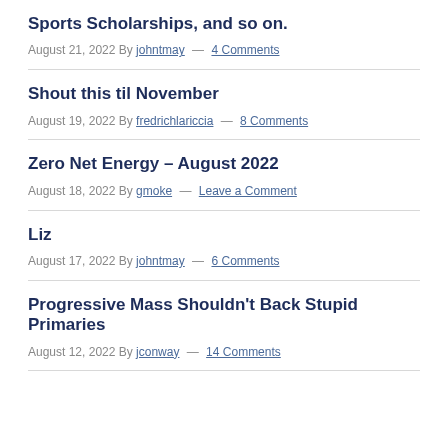Sports Scholarships, and so on.
August 21, 2022 By johntmay — 4 Comments
Shout this til November
August 19, 2022 By fredrichlariccia — 8 Comments
Zero Net Energy – August 2022
August 18, 2022 By gmoke — Leave a Comment
Liz
August 17, 2022 By johntmay — 6 Comments
Progressive Mass Shouldn't Back Stupid Primaries
August 12, 2022 By jconway — 14 Comments